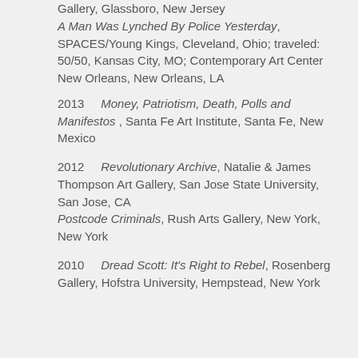2016  A Sharp Divide, Rowan University Art Gallery, Glassboro, New Jersey
A Man Was Lynched By Police Yesterday, SPACES/Young Kings, Cleveland, Ohio; traveled: 50/50, Kansas City, MO; Contemporary Art Center New Orleans, New Orleans, LA
2013  Money, Patriotism, Death, Polls and Manifestos , Santa Fe Art Institute, Santa Fe, New Mexico
2012  Revolutionary Archive, Natalie & James Thompson Art Gallery, San Jose State University, San Jose, CA
Postcode Criminals, Rush Arts Gallery, New York, New York
2010  Dread Scott: It's Right to Rebel, Rosenberg Gallery, Hofstra University, Hempstead, New York